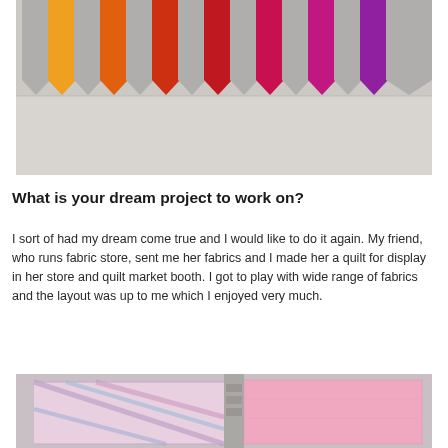[Figure (photo): A quilt wall hanging with colorful arrow/chevron shaped fabric pieces in a rainbow gradient from yellow-orange to purple, with grey neutral pieces interspersed, hanging on a white wall.]
What is your dream project to work on?
I sort of had my dream come true and I would like to do it again. My friend, who runs fabric store, sent me her fabrics and I made her a quilt for display in her store and quilt market booth. I got to play with wide range of fabrics and the layout was up to me which I enjoyed very much.
[Figure (photo): Two quilts displayed outdoors hanging on a rack or fence — one with pink and blue geometric/diagonal patterns and one solid pink, both appearing to be in a market or outdoor setting.]